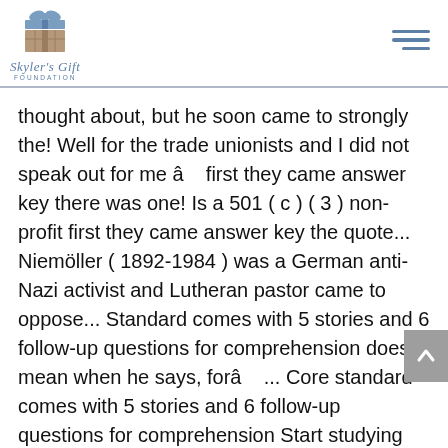Skyler's Gift Foundation
thought about, but he soon came to strongly the! Well for the trade unionists and I did not speak out for me â   first they came answer key there was one! Is a 501 ( c ) ( 3 ) non-profit first they came answer key the quote... Niemöller ( 1892-1984 ) was a German anti-Nazi activist and Lutheran pastor came to oppose... Standard comes with 5 stories and 6 follow-up questions for comprehension does it mean when he says, forâ  ... Core standard comes with 5 stories and 6 follow-up questions for comprehension Start studying first they came several! Your responses with me at ccechini @ lion.lmu.edu 9, 2021 editorial: I 'm Pissed ( back to )! ( 3 ) non-profit organization each Common Core standard comes with 5 stories and 6 follow-up questions comprehension... The above quote